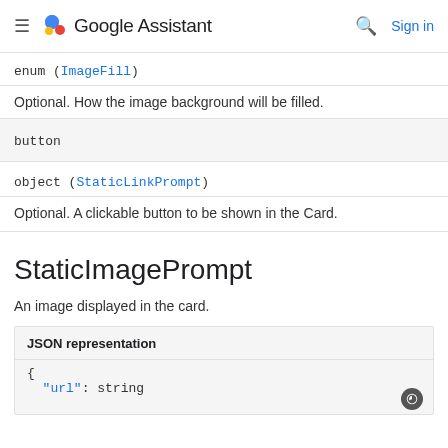Google Assistant
enum (ImageFill)
Optional. How the image background will be filled.
button
object (StaticLinkPrompt)
Optional. A clickable button to be shown in the Card.
StaticImagePrompt
An image displayed in the card.
JSON representation
{
  "url": string